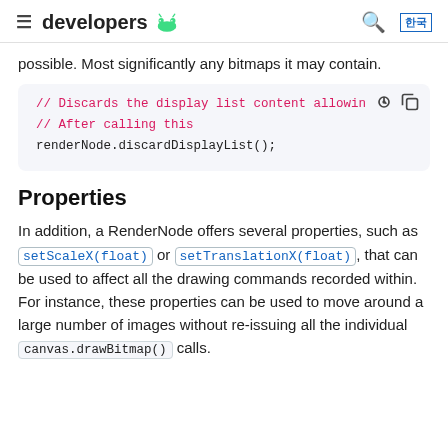developers [android logo]
possible. Most significantly any bitmaps it may contain.
[Figure (screenshot): Code block showing: // Discards the display list content allowin // After calling this renderNode.discardDisplayList();]
Properties
In addition, a RenderNode offers several properties, such as setScaleX(float) or setTranslationX(float), that can be used to affect all the drawing commands recorded within. For instance, these properties can be used to move around a large number of images without re-issuing all the individual canvas.drawBitmap() calls.